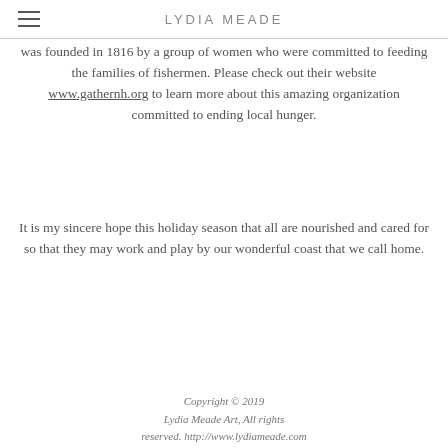LYDIA MEADE
was founded in 1816 by a group of women who were committed to feeding the families of fishermen. Please check out their website www.gathernh.org to learn more about this amazing organization committed to ending local hunger.
It is my sincere hope this holiday season that all are nourished and cared for so that they may work and play by our wonderful coast that we call home.
Copyright © 2019
Lydia Meade Art, All rights
reserved. http://www.lydiameade.com